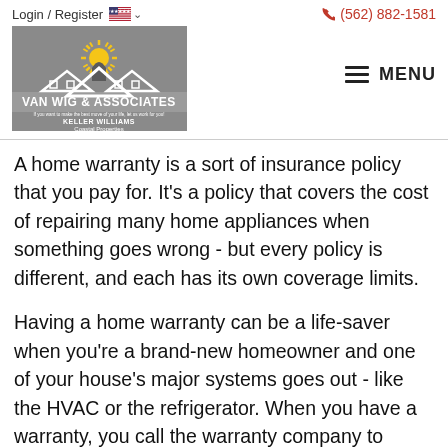Login / Register  (562) 882-1581
[Figure (logo): Van Wig & Associates Keller Williams Coastal Properties logo on grey background with house silhouette and sunburst]
A home warranty is a sort of insurance policy that you pay for. It's a policy that covers the cost of repairing many home appliances when something goes wrong - but every policy is different, and each has its own coverage limits.
Having a home warranty can be a life-saver when you're a brand-new homeowner and one of your house's major systems goes out - like the HVAC or the refrigerator. When you have a warranty, you call the warranty company to schedule time for them to send a technician out...